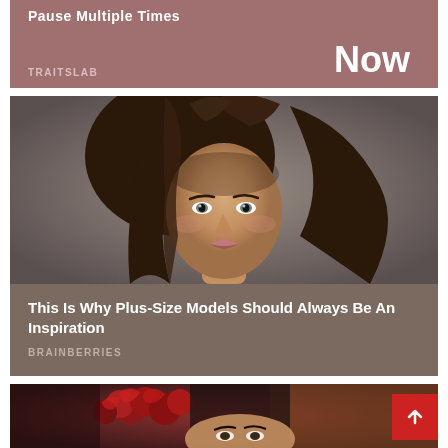Pause Multiple Times
TRAITSLAB
Now
[Figure (photo): Portrait photo of a young woman with brown wavy hair against a grey background]
This Is Why Plus-Size Models Should Always Be An Inspiration
BRAINBERRIES
[Figure (photo): Photo of a woman with red roses in her dark hair against a warm blurred background]
[Figure (other): Red scroll-to-top button with upward arrow]